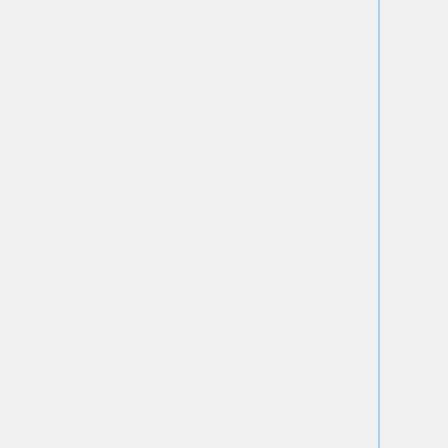| Title | Genre |
| --- | --- |
| Flair 5 | Action |
| Flair 4 | Action |
| Flair 3 | Action |
| Flair 2 | Action |
| Flair | Action |
| asdfmovie4 | Comedy |
| asdfmovie3 | Comedy |
| Castle III Part D | Action |
| Castle III Part A | Action |
| Castle II | Action |
| Apache | Action |
| "Alloy" | Action |
| Adobe Flash tenth anniversary animation | Informative |
| A Nice Day To Die 2 | Action |
| A Nice Day To Die | Action |